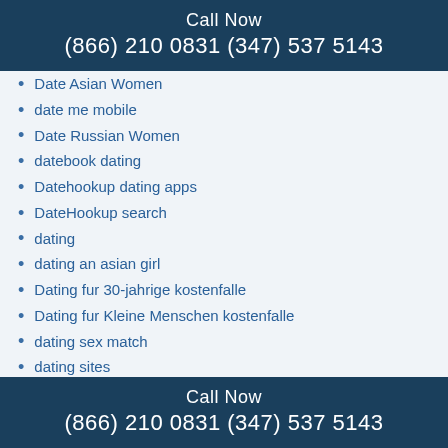Call Now
(866) 210 0831 (347) 537 5143
Date Asian Women
date me mobile
Date Russian Women
datebook dating
Datehookup dating apps
DateHookup search
dating
dating an asian girl
Dating fur 30-jahrige kostenfalle
Dating fur Kleine Menschen kostenfalle
dating sex match
dating sites
dating sites free
Dating4Disabled app
Dating4disabled promo code
DatingArea kostenfalle
Call Now
(866) 210 0831 (347) 537 5143